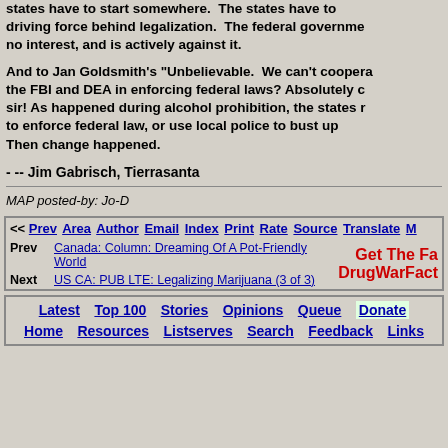states have to start somewhere.  The states have to driving force behind legalization.  The federal government no interest, and is actively against it.
And to Jan Goldsmith's "Unbelievable.  We can't coopera the FBI and DEA in enforcing federal laws? Absolutely c sir! As happened during alcohol prohibition, the states r to enforce federal law, or use local police to bust up Then change happened.
- -- Jim Gabrisch, Tierrasanta
MAP posted-by: Jo-D
<< Prev  Area  Author  Email  Index  Print  Rate  Source  Translate  M
Prev: Canada: Column: Dreaming Of A Pot-Friendly World
Next: US CA: PUB LTE: Legalizing Marijuana (3 of 3)
Get The Fa DrugWarFact
Latest  Top 100  Stories  Opinions  Queue  Donate  Home  Resources  Listserves  Search  Feedback  Links